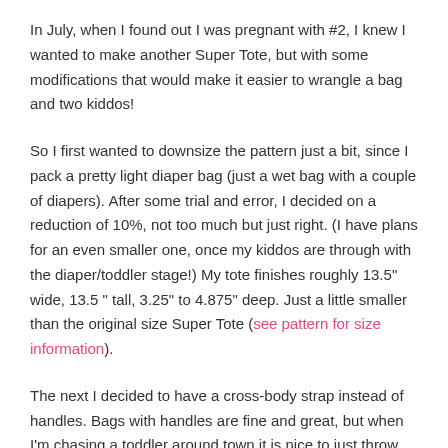In July, when I found out I was pregnant with #2, I knew I wanted to make another Super Tote, but with some modifications that would make it easier to wrangle a bag and two kiddos!
So I first wanted to downsize the pattern just a bit, since I pack a pretty light diaper bag (just a wet bag with a couple of diapers). After some trial and error, I decided on a reduction of 10%, not too much but just right. (I have plans for an even smaller one, once my kiddos are through with the diaper/toddler stage!) My tote finishes roughly 13.5" wide, 13.5 " tall, 3.25" to 4.875" deep. Just a little smaller than the original size Super Tote (see pattern for size information).
The next I decided to have a cross-body strap instead of handles. Bags with handles are fine and great, but when I'm chasing a toddler around town it is nice to just throw my bag across my